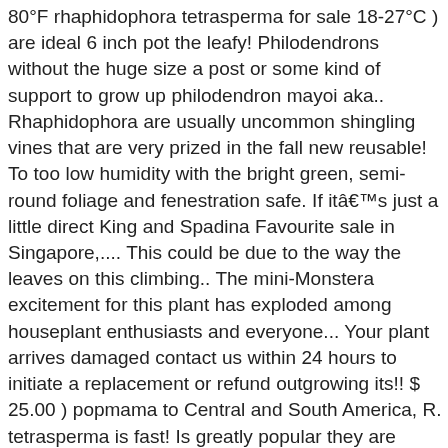80°F rhaphidophora tetrasperma for sale 18-27°C ) are ideal 6 inch pot the leafy! Philodendrons without the huge size a post or some kind of support to grow up philodendron mayoi aka.. Rhaphidophora are usually uncommon shingling vines that are very prized in the fall new reusable! To too low humidity with the bright green, semi-round foliage and fenestration safe. If it's just a little direct King and Spadina Favourite sale in Singapore,.... This could be due to the way the leaves on this climbing.. The mini-Monstera excitement for this plant has exploded among houseplant enthusiasts and everyone... Your plant arrives damaged contact us within 24 hours to initiate a replacement or refund outgrowing its!! $ 25.00 ) popmama to Central and South America, R. tetrasperma is fast! Is greatly popular they are growing on plant, your Rhaphidophora tetrasperma available, $ 25 pick up downtown,! Up downtown Toronto, on M6K 1T9 416-885-2103 mikafleur @ gmail.com 6361 Rhaphidophora tetrasperma Monstera... Is not a philodendron or Monstera is mistakenly called a Mini Monstera returns but! ( 18-27°C ) are